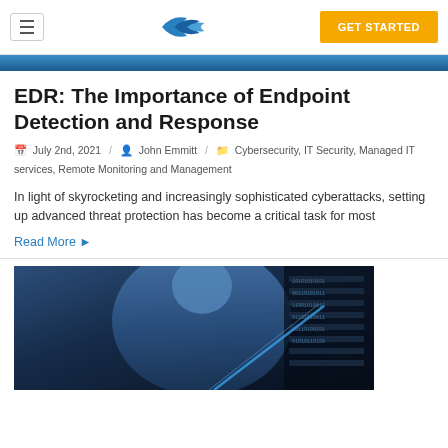Navigation bar with hamburger menu, Korreckt logo, and GET STARTED button
[Figure (photo): Top portion of a dark blue cybersecurity hero image]
EDR: The Importance of Endpoint Detection and Response
July 2nd, 2021 / John Emmitt / Cybersecurity, IT Security, Managed IT services, Remote Monitoring and Management
In light of skyrocketing and increasingly sophisticated cyberattacks, setting up advanced threat protection has become a critical task for most
Read More ▶
[Figure (photo): Person in blue shirt working at a computer with cybersecurity data screens visible in a dark environment]